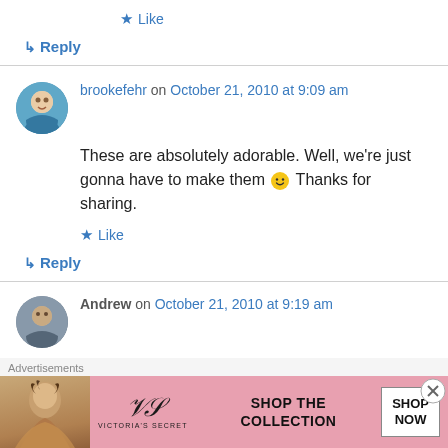★ Like
↳ Reply
brookefehr on October 21, 2010 at 9:09 am
These are absolutely adorable. Well, we're just gonna have to make them 🙂 Thanks for sharing.
★ Like
↳ Reply
Andrew on October 21, 2010 at 9:19 am
Advertisements
[Figure (other): Victoria's Secret advertisement banner: model photo, VS logo, 'SHOP THE COLLECTION', 'SHOP NOW' button]